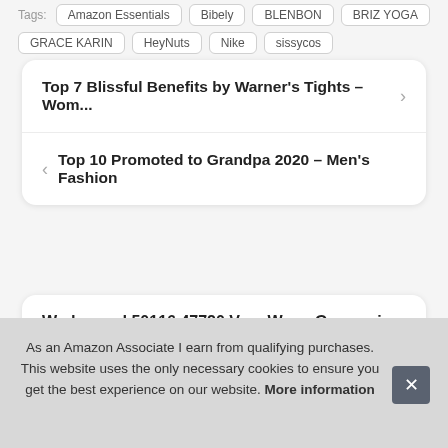Tags: Amazon Essentials, Bibely, BLENBON, BRIZ YOGA, GRACE KARIN, HeyNuts, Nike, sissycos
Top 7 Blissful Benefits by Warner's Tights – Wom...
Top 10 Promoted to Grandpa 2020 – Men's Fashion
Wedgwood 50116 47720 Vera Wang Grosgrain F...
T...
As an Amazon Associate I earn from qualifying purchases. This website uses the only necessary cookies to ensure you get the best experience on our website. More information